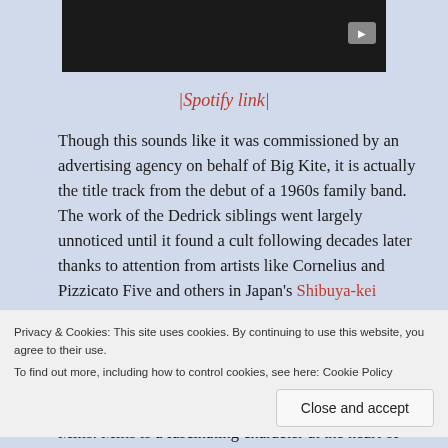[Figure (screenshot): Dark video thumbnail with YouTube play button in top right corner]
|Spotify link|
Though this sounds like it was commissioned by an advertising agency on behalf of Big Kite, it is actually the title track from the debut of a 1960s family band. The work of the Dedrick siblings went largely unnoticed until it found a cult following decades later thanks to attention from artists like Cornelius and Pizzicato Five and others in Japan's Shibuya-kei scene. The Free Design released eight albums with Project 3 before disbanding
Privacy & Cookies: This site uses cookies. By continuing to use this website, you agree to their use. To find out more, including how to control cookies, see here: Cookie Policy
Close and accept
Mills. Mills is a fascinating character at the heart of the